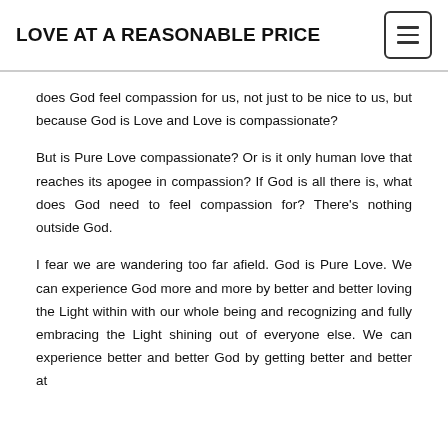LOVE AT A REASONABLE PRICE
does God feel compassion for us, not just to be nice to us, but because God is Love and Love is compassionate?
But is Pure Love compassionate? Or is it only human love that reaches its apogee in compassion? If God is all there is, what does God need to feel compassion for? There’s nothing outside God.
I fear we are wandering too far afield. God is Pure Love. We can experience God more and more by better and better loving the Light within with our whole being and recognizing and fully embracing the Light shining out of everyone else. We can experience better and better God by getting better and better at